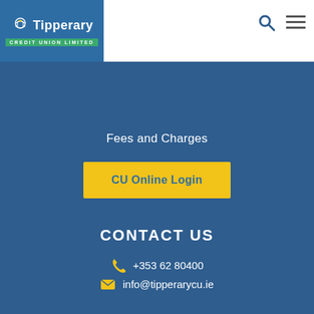[Figure (logo): Tipperary Credit Union Limited logo with blue background and green subtitle bar]
Fees and Charges
CU Online Login
CONTACT US
+353 62 80400
info@tipperarycu.ie
[Figure (infographic): Social media icons row: location pin, Facebook, Instagram, Twitter/X, YouTube separated by vertical lines]